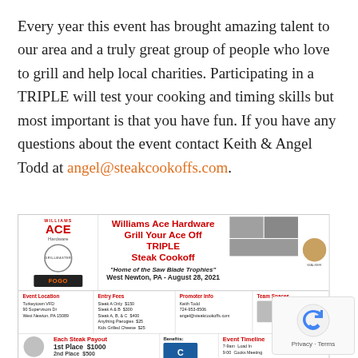Every year this event has brought amazing talent to our area and a truly great group of people who love to grill and help local charities. Participating in a TRIPLE will test your cooking and timing skills but most important is that you have fun. If you have any questions about the event contact Keith & Angel Todd at angel@steakcookoffs.com.
[Figure (infographic): Williams Ace Hardware Grill Your Ace Off TRIPLE Steak Cookoff advertisement. Home of the Saw Blade Trophies. West Newton, PA - August 28, 2021. Event Location: Turkeytown VFD, 90 Supervisors Dr, West Newton, PA 15089. Entry Fees: Steak A Only $150, Steak A & B $300, Steak A, B, & C $400, Anything Pierogies $25, Kids Grilled Cheese $25. Promoter Info: Keith Todd, 724-953-8506, angel@steakcookoffs.com. Team Spaces listed. Each Steak Payout: 1st Place $1000. Event Timeline: 7-9am Load In, 9:00 Cooks Meeting.]
[Figure (logo): reCAPTCHA privacy badge with Privacy - Terms text]